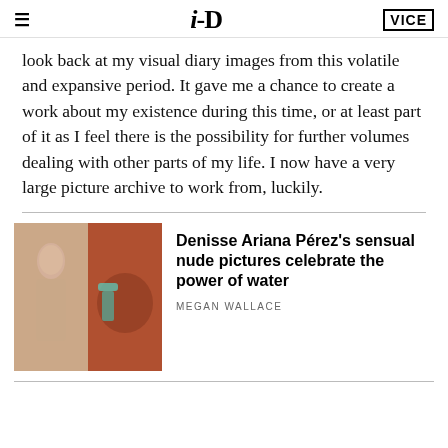i-D | VICE
look back at my visual diary images from this volatile and expansive period. It gave me a chance to create a work about my existence during this time, or at least part of it as I feel there is the possibility for further volumes dealing with other parts of my life. I now have a very large picture archive to work from, luckily.
[Figure (photo): Two-panel thumbnail image: left panel shows a nude figure, right panel shows hands holding something against a warm reddish-brown background.]
Denisse Ariana Pérez's sensual nude pictures celebrate the power of water
MEGAN WALLACE